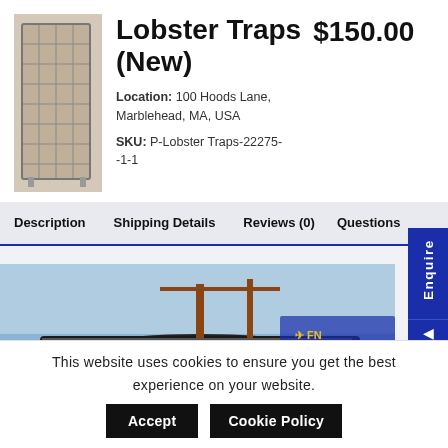[Figure (photo): Photo of lobster traps, wire cage-style traps stacked vertically]
Lobster Traps (New)   $150.00
Location: 100 Hoods Lane, Marblehead, MA, USA
SKU: P-Lobster Traps-22275--1-1
Description   Shipping Details   Reviews (0)   Questions
[Figure (photo): Boat/vessel in dry dock with crane; FN Worldwide Transport advertisement banner. Text: WORLDWIDE TRANSPORT / ALL SIZE VESSELS | EVERY TWO WEEKS / SPECIALS RATES FROM CARIBBEAN]
This website uses cookies to ensure you get the best experience on your website.
Accept
Cookie Policy